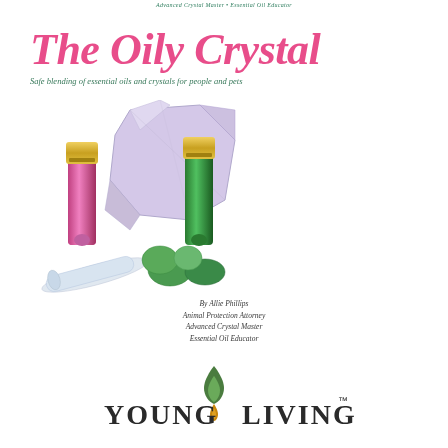Advanced Crystal Master • Essential Oil Educator
The Oily Crystal
Safe blending of essential oils and crystals for people and pets
[Figure (photo): Photo of two essential oil roller bottles (one pink/magenta, one green) with gold caps, arranged alongside various crystals including a large clear/purple crystal cluster, a clear crystal wand, green tumbled stones, and other crystal pieces on a white background.]
By Allie Phillips
Animal Protection Attorney
Advanced Crystal Master
Essential Oil Educator
[Figure (logo): Young Living logo with green flame/leaf icon and the words YOUNG LIVING in dark gray serif font with trademark symbol.]